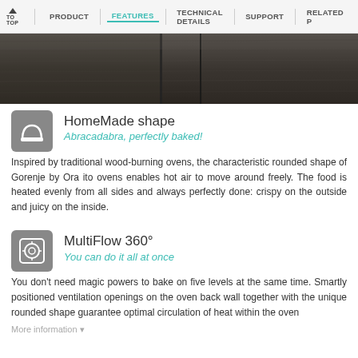TO TOP | PRODUCT | FEATURES | TECHNICAL DETAILS | SUPPORT | RELATED P
[Figure (photo): Dark wood-grain textured surface, close-up of dark brown/grey wooden oven or furniture panel]
HomeMade shape
Abracadabra, perfectly baked!
Inspired by traditional wood-burning ovens, the characteristic rounded shape of Gorenje by Ora ito ovens enables hot air to move around freely. The food is heated evenly from all sides and always perfectly done: crispy on the outside and juicy on the inside.
MultiFlow 360°
You can do it all at once
You don't need magic powers to bake on five levels at the same time. Smartly positioned ventilation openings on the oven back wall together with the unique rounded shape guarantee optimal circulation of heat within the oven
More information ▼